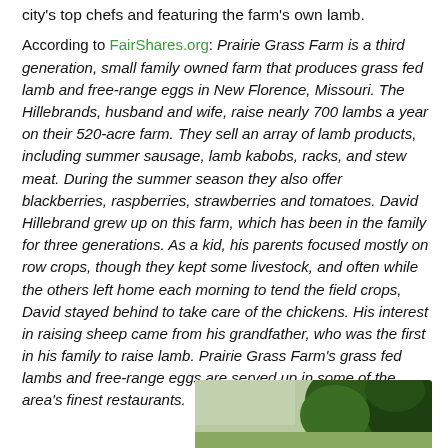city's top chefs and featuring the farm's own lamb.
According to FairShares.org: Prairie Grass Farm is a third generation, small family owned farm that produces grass fed lamb and free-range eggs in New Florence, Missouri. The Hillebrands, husband and wife, raise nearly 700 lambs a year on their 520-acre farm. They sell an array of lamb products, including summer sausage, lamb kabobs, racks, and stew meat. During the summer season they also offer blackberries, raspberries, strawberries and tomatoes. David Hillebrand grew up on this farm, which has been in the family for three generations. As a kid, his parents focused mostly on row crops, though they kept some livestock, and often while the others left home each morning to tend the field crops, David stayed behind to take care of the chickens. His interest in raising sheep came from his grandfather, who was the first in his family to raise lamb. Prairie Grass Farm's grass fed lambs and free-range eggs are served up in some of the area's finest restaurants.
[Figure (photo): Partial photo visible at bottom of page, appears to show outdoor/farm scene with green foliage]